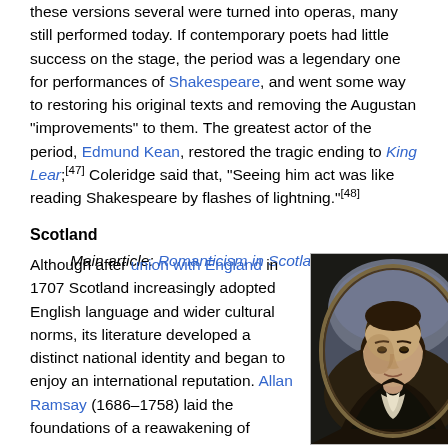these versions several were turned into operas, many still performed today. If contemporary poets had little success on the stage, the period was a legendary one for performances of Shakespeare, and went some way to restoring his original texts and removing the Augustan "improvements" to them. The greatest actor of the period, Edmund Kean, restored the tragic ending to King Lear;[47] Coleridge said that, "Seeing him act was like reading Shakespeare by flashes of lightning."[48]
Scotland
Main article: Romanticism in Scotland
Although after union with England in 1707 Scotland increasingly adopted English language and wider cultural norms, its literature developed a distinct national identity and began to enjoy an international reputation. Allan Ramsay (1686–1758) laid the foundations of a reawakening of
[Figure (photo): Portrait painting of a man (likely Robert Burns), shown in an oval frame against a dark background, wearing a dark coat with white cravat.]